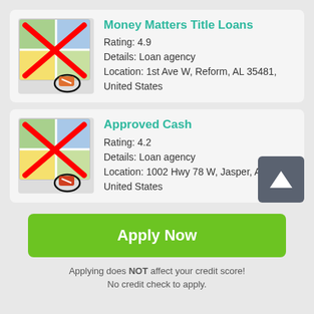[Figure (screenshot): Map icon with red X overlay for Money Matters Title Loans]
Money Matters Title Loans
Rating: 4.9
Details: Loan agency
Location: 1st Ave W, Reform, AL 35481, United States
[Figure (screenshot): Map icon with red X overlay for Approved Cash]
Approved Cash
Rating: 4.2
Details: Loan agency
Location: 1002 Hwy 78 W, Jasper, AL 355...
United States
Apply Now
Applying does NOT affect your credit score!
No credit check to apply.